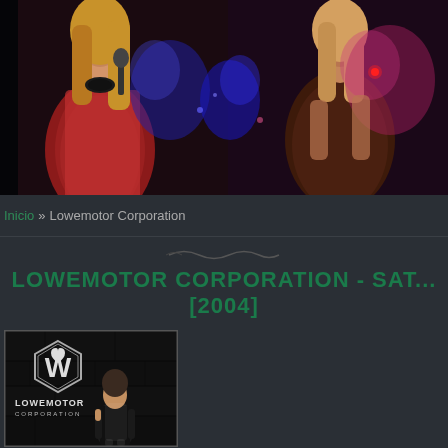[Figure (photo): Concert/performance photo banner showing two female performers on stage with colorful lighting (blue, purple, red/pink). Left performer in red dress holding microphone, right performer in dark outfit with dramatic stage lighting.]
Inicio » Lowemotor Corporation
LOWEMOTOR CORPORATION - SAT... [2004]
[Figure (photo): Album cover for Lowemotor Corporation. Dark moody image showing a woman in black outfit standing in front of a stone wall. The Lowemotor Corporation logo (stylized W in hexagon) appears in the upper left with text 'LOWEMOTOR CORPORATION' below it.]